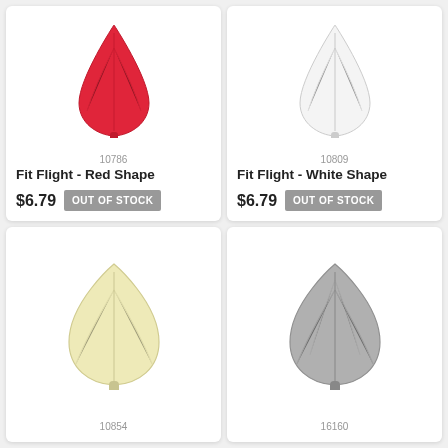[Figure (photo): Red dart flight shape (shape/kite variant), viewed from front]
10786
Fit Flight - Red Shape
$6.79  OUT OF STOCK
[Figure (photo): White dart flight shape (shape/kite variant), viewed from front]
10809
Fit Flight - White Shape
$6.79  OUT OF STOCK
[Figure (photo): Light yellow/cream dart flight (standard/pear shape), viewed from front]
10854
[Figure (photo): Gray dart flight (standard/pear shape), viewed from front]
16160